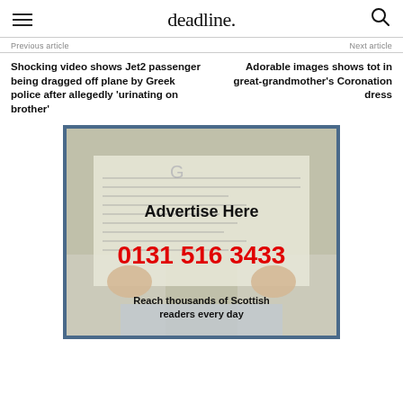deadline.
Previous article
Next article
Shocking video shows Jet2 passenger being dragged off plane by Greek police after allegedly 'urinating on brother'
Adorable images shows tot in great-grandmother's Coronation dress
[Figure (photo): Advertisement banner showing a person reading a newspaper with text 'Advertise Here', phone number '0131 516 3433', and tagline 'Reach thousands of Scottish readers every day']